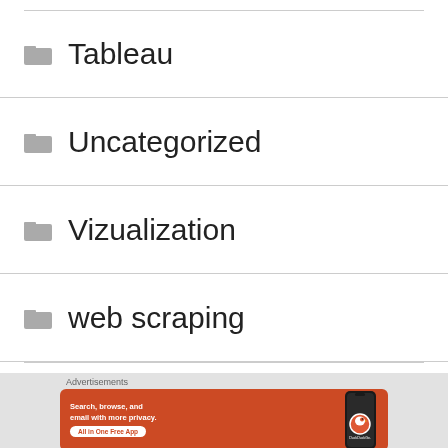Tableau
Uncategorized
Vizualization
web scraping
[Figure (screenshot): DuckDuckGo advertisement banner showing 'Search, browse, and email with more privacy. All in One Free App' with DuckDuckGo logo and phone mockup, preceded by 'Advertisements' label. A close button (X circle) appears at the top right of the ad overlay.]